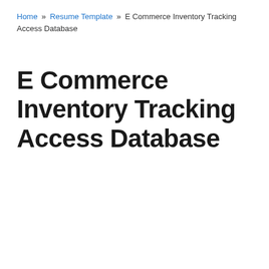Home » Resume Template » E Commerce Inventory Tracking Access Database
E Commerce Inventory Tracking Access Database